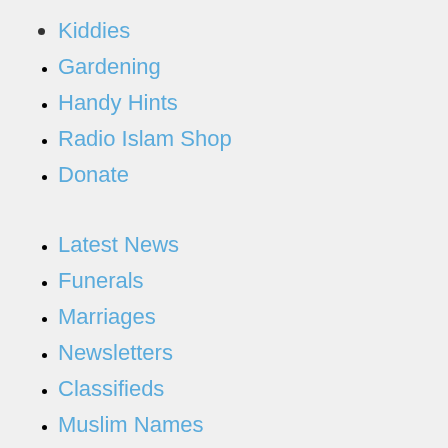Kiddies
Gardening
Handy Hints
Radio Islam Shop
Donate
Latest News
Funerals
Marriages
Newsletters
Classifieds
Muslim Names
Library
Recipes
Da'wah, Muslim Reverts